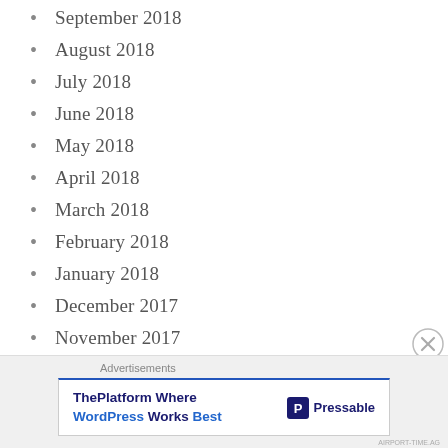September 2018
August 2018
July 2018
June 2018
May 2018
April 2018
March 2018
February 2018
January 2018
December 2017
November 2017
October 2017
September 2017
Advertisements
ThePlatform Where WordPress Works Best — Pressable